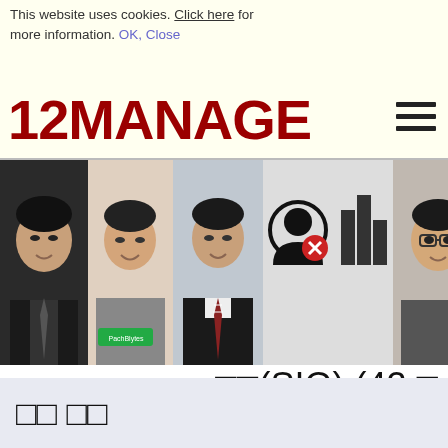This website uses cookies. Click here for more information. OK, Close
[Figure (logo): 12MANAGE logo in dark red bold text with hamburger menu icon on the right]
[Figure (photo): Strip of profile photos of various people, with user/search overlay icons in the middle]
□□(SIG) (42 □
□□ □□